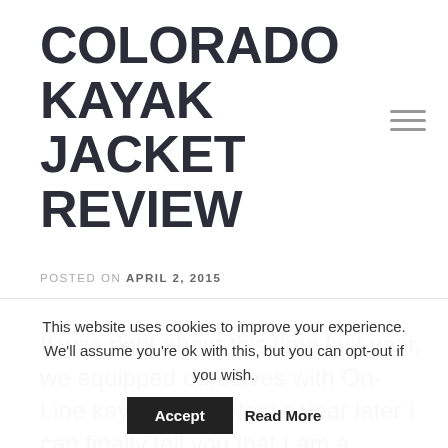COLORADO KAYAK JACKET REVIEW
POSTED ON APRIL 2, 2015
It was right about this time last year, we equipped ourselves with On-Line kayak tops.  Now a year later I can finally tell you that I am a satisfied costumer. I bought a semi-dry jacket, (ab)used it for a year, and
This website uses cookies to improve your experience. We'll assume you're ok with this, but you can opt-out if you wish. Accept Read More